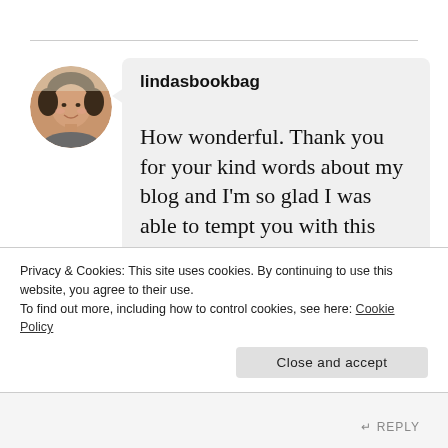[Figure (photo): Circular avatar photo of a woman with short dark hair, smiling, in an outdoor or indoor setting]
lindasbookbag
How wonderful. Thank you for your kind words about my blog and I'm so glad I was able to tempt you with this one. I hope you really enjoy Finding
Privacy & Cookies: This site uses cookies. By continuing to use this website, you agree to their use.
To find out more, including how to control cookies, see here: Cookie Policy
Close and accept
REPLY